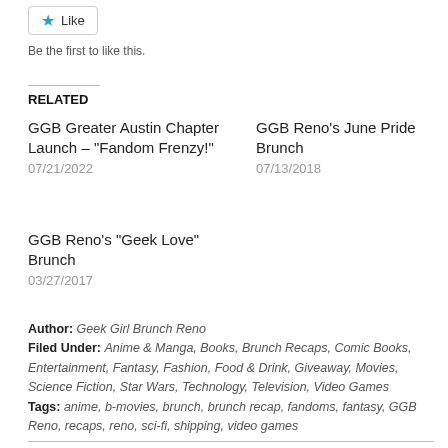Like
Be the first to like this.
RELATED
GGB Greater Austin Chapter Launch – "Fandom Frenzy!"
07/21/2022
GGB Reno's June Pride Brunch
07/13/2018
GGB Reno's "Geek Love" Brunch
03/27/2017
Author: Geek Girl Brunch Reno
Filed Under: Anime & Manga, Books, Brunch Recaps, Comic Books, Entertainment, Fantasy, Fashion, Food & Drink, Giveaway, Movies, Science Fiction, Star Wars, Technology, Television, Video Games
Tags: anime, b-movies, brunch, brunch recap, fandoms, fantasy, GGB Reno, recaps, reno, sci-fi, shipping, video games